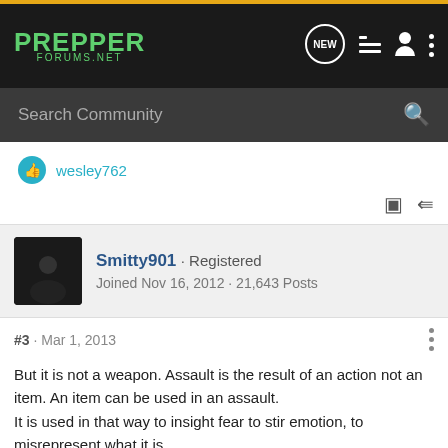PREPPER FORUMS.NET
Search Community
wesley762
Smitty901 · Registered
Joined Nov 16, 2012 · 21,643 Posts
#3 · Mar 1, 2013
But it is not a weapon. Assault is the result of an action not an item. An item can be used in an assault.
It is used in that way to insight fear to stir emotion, to misrepresent what it is.
AR does not stand for Assault Rifle never did.